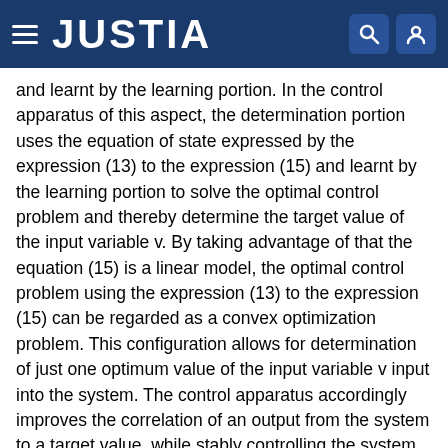JUSTIA
and learnt by the learning portion. In the control apparatus of this aspect, the determination portion uses the equation of state expressed by the expression (13) to the expression (15) and learnt by the learning portion to solve the optimal control problem and thereby determine the target value of the input variable v. By taking advantage of that the equation (15) is a linear model, the optimal control problem using the expression (13) to the expression (15) can be regarded as a convex optimization problem. This configuration allows for determination of just one optimum value of the input variable v input into the system. The control apparatus accordingly improves the correlation of an output from the system to a target value, while stably controlling the system.
(8) According to another aspect of the present